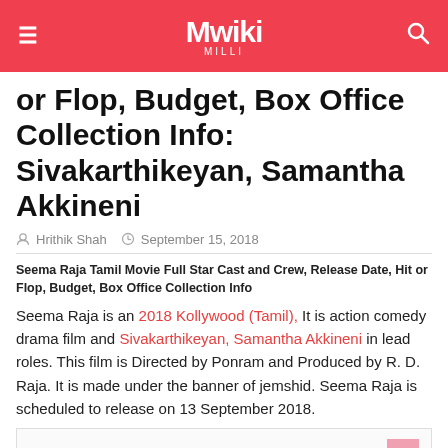Mwiki MILLI
or Flop, Budget, Box Office Collection Info: Sivakarthikeyan, Samantha Akkineni
Hrithik Shah  September 15, 2018
Seema Raja Tamil Movie Full Star Cast and Crew, Release Date, Hit or Flop, Budget, Box Office Collection Info
Seema Raja is an 2018 Kollywood (Tamil), It is action comedy drama film and Sivakarthikeyan, Samantha Akkineni in lead roles. This film is Directed by Ponram and Produced by R. D. Raja. It is made under the banner of jemshid. Seema Raja is scheduled to release on 13 September 2018.
First look Poster of Seema Raja